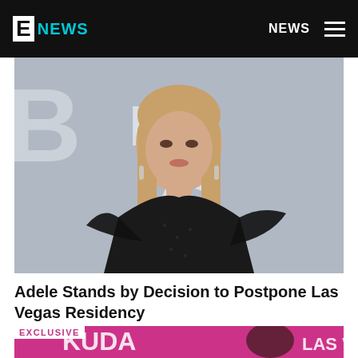E NEWS | NEWS
[Figure (photo): Woman with long blonde hair wearing a black off-shoulder dress with sheer polka-dot fabric, standing in front of a grey BRIT Awards backdrop]
Adele Stands by Decision to Postpone Las Vegas Residency
July 3, 2022
[Figure (photo): Partial view of a photo with EXCLUSIVE badge overlay, pink/magenta background with KUDA and LAS VE text visible]